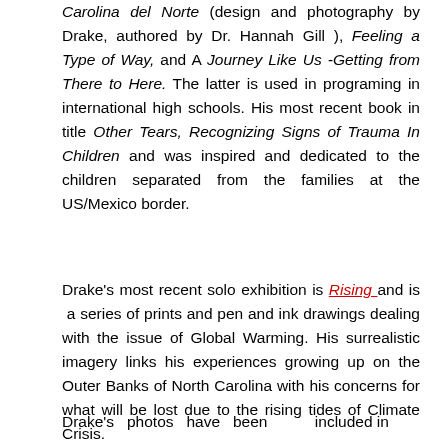Carolina del Norte (design and photography by Drake, authored by Dr. Hannah Gill ), Feeling a Type of Way, and A Journey Like Us -Getting from There to Here. The latter is used in programing in international high schools. His most recent book in title Other Tears, Recognizing Signs of Trauma In Children and was inspired and dedicated to the children separated from the families at the US/Mexico border.
Drake's most recent solo exhibition is Rising and is a series of prints and pen and ink drawings dealing with the issue of Global Warming. His surrealistic imagery links his experiences growing up on the Outer Banks of North Carolina with his concerns for what will be lost due to the rising tides of Climate Crisis.
Drake's photos have been included in